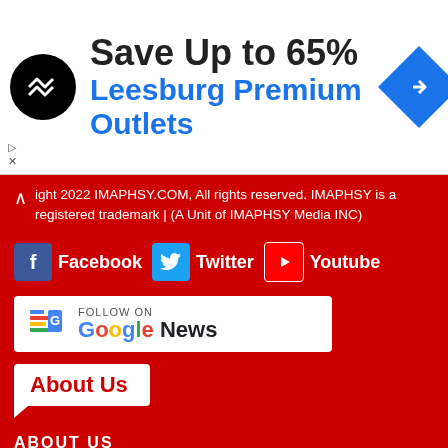[Figure (infographic): Advertisement banner: black circular logo with double arrow, text 'Save Up to 65% Leesburg Premium Outlets', blue diamond navigation icon on right]
Copyright 2022 IMAPHSY.COM, All rights reserved. IMAPHSY is a registered trademark | (A Unit of IMAPHSY Media INC)
[Figure (infographic): Social media buttons: Facebook (blue), Twitter (blue), Youtube (red)]
[Figure (infographic): Follow on Google News button with Google News icon]
About Us
ABOUT US
PRIVACY POLICY
TERMS OF USE
CONTACT US